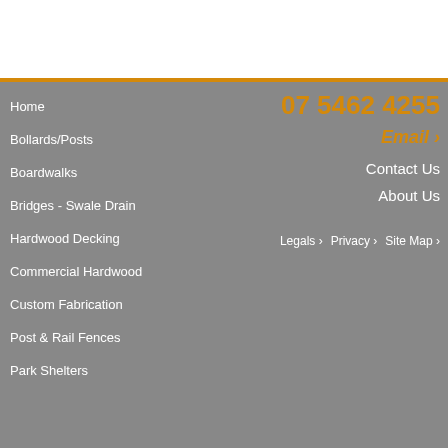Home
Bollards/Posts
Boardwalks
Bridges - Swale Drain
Hardwood Decking
Commercial Hardwood
Custom Fabrication
Post & Rail Fences
Park Shelters
07 5462 4255
Email ›
Contact Us
About Us
Legals ›  Privacy ›  Site Map ›